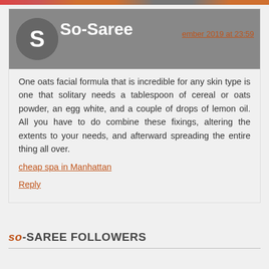So-Saree — ember 2019 at 23:59
One oats facial formula that is incredible for any skin type is one that solitary needs a tablespoon of cereal or oats powder, an egg white, and a couple of drops of lemon oil. All you have to do combine these fixings, altering the extents to your needs, and afterward spreading the entire thing all over.
cheap spa in Manhattan
Reply
SO-SAREE FOLLOWERS